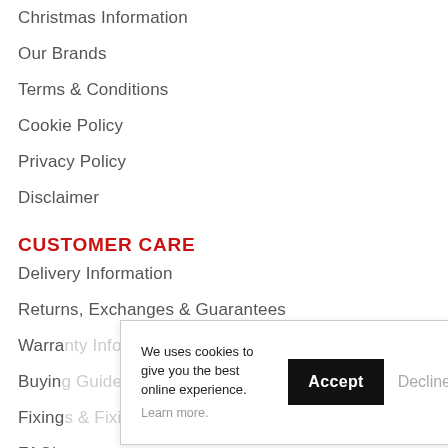Christmas Information
Our Brands
Terms & Conditions
Cookie Policy
Privacy Policy
Disclaimer
CUSTOMER CARE
Delivery Information
Returns, Exchanges & Guarantees
Warra[nty Information]
Buyin[g Guides]
Fixing[s & Fixings]
FAQ's
We uses cookies to give you the best online experience. Learn more.